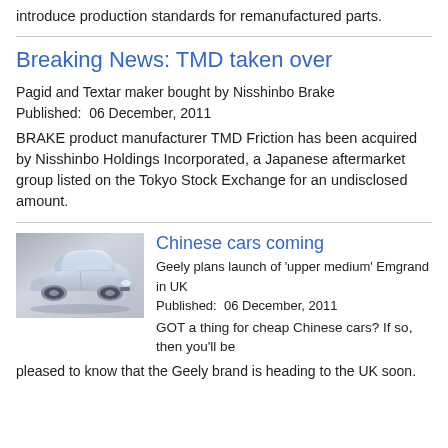introduce production standards for remanufactured parts.
Breaking News: TMD taken over
Pagid and Textar maker bought by Nisshinbo Brake
Published:  06 December, 2011
BRAKE product manufacturer TMD Friction has been acquired by Nisshinbo Holdings Incorporated, a Japanese aftermarket group listed on the Tokyo Stock Exchange for an undisclosed amount.
[Figure (photo): Photo of a silver Geely Emgrand sedan car on a grey background]
Chinese cars coming
Geely plans launch of 'upper medium' Emgrand in UK
Published:  06 December, 2011
GOT a thing for cheap Chinese cars? If so, then you'll be pleased to know that the Geely brand is heading to the UK soon.